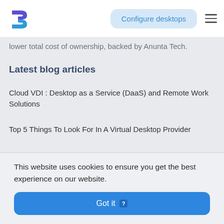Configure desktops
lower total cost of ownership, backed by Anunta Tech.
Latest blog articles
Cloud VDI : Desktop as a Service (DaaS) and Remote Work Solutions
Top 5 Things To Look For In A Virtual Desktop Provider
How Virtual Desktops Can Boost Your Business
This website uses cookies to ensure you get the best experience on our website.
Got it